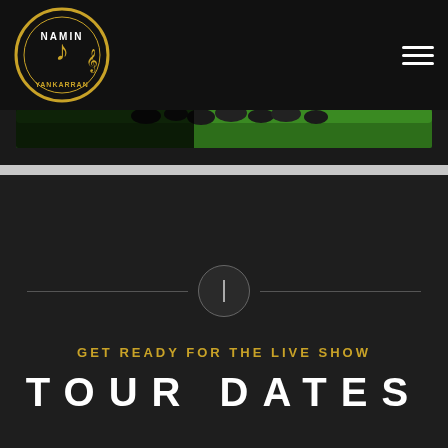[Figure (logo): Namin Yankarran artist logo — gold circle with musical note and stylized text]
[Figure (photo): Concert banner showing crowd and stage with green field, with 'BUY TICKETS ONLINE TicketGateway.com' overlay]
GET READY FOR THE LIVE SHOW
TOUR DATES